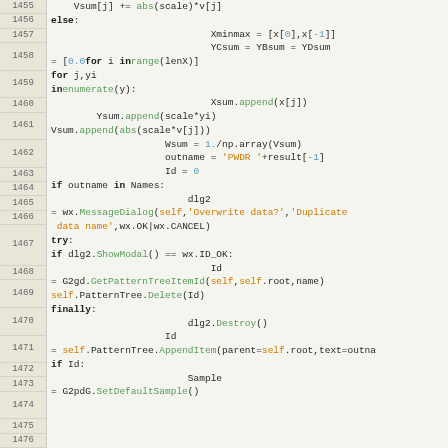Code listing lines 1455-1476 showing Python source code